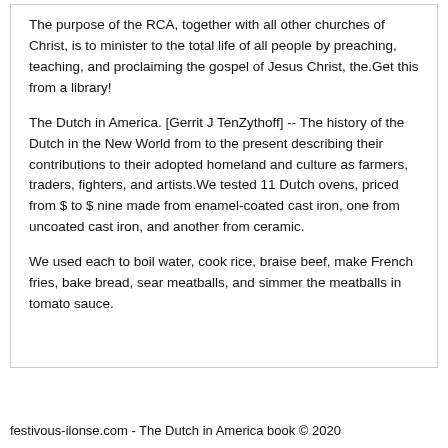The purpose of the RCA, together with all other churches of Christ, is to minister to the total life of all people by preaching, teaching, and proclaiming the gospel of Jesus Christ, the.Get this from a library!
The Dutch in America. [Gerrit J TenZythoff] -- The history of the Dutch in the New World from to the present describing their contributions to their adopted homeland and culture as farmers, traders, fighters, and artists.We tested 11 Dutch ovens, priced from $ to $ nine made from enamel-coated cast iron, one from uncoated cast iron, and another from ceramic.
We used each to boil water, cook rice, braise beef, make French fries, bake bread, sear meatballs, and simmer the meatballs in tomato sauce.
festivous-ilonse.com - The Dutch in America book © 2020